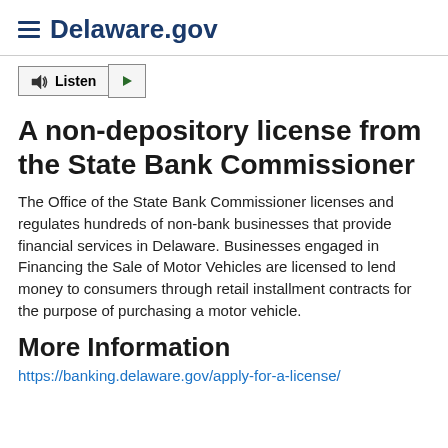Delaware.gov
Listen ▶
A non-depository license from the State Bank Commissioner
The Office of the State Bank Commissioner licenses and regulates hundreds of non-bank businesses that provide financial services in Delaware. Businesses engaged in Financing the Sale of Motor Vehicles are licensed to lend money to consumers through retail installment contracts for the purpose of purchasing a motor vehicle.
More Information
https://banking.delaware.gov/apply-for-a-license/